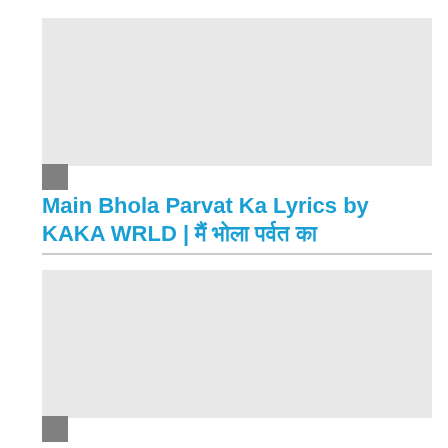[Figure (other): Top advertisement placeholder block, light gray rectangle with a small dark gray square in bottom-left corner]
Main Bhola Parvat Ka Lyrics by KAKA WRLD | मैं भोला पर्वत का
[Figure (other): Bottom advertisement placeholder block, light gray rectangle with a small dark gray square in bottom-left corner]